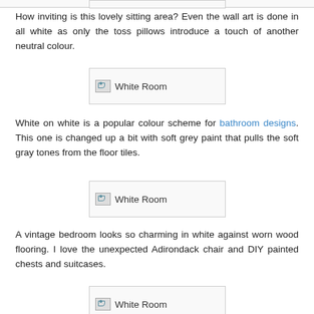[Figure (other): Broken image placeholder labeled 'White Room' at top of page (partial)]
How inviting is this lovely sitting area? Even the wall art is done in all white as only the toss pillows introduce a touch of another neutral colour.
[Figure (photo): Broken image placeholder labeled 'White Room']
White on white is a popular colour scheme for bathroom designs. This one is changed up a bit with soft grey paint that pulls the soft gray tones from the floor tiles.
[Figure (photo): Broken image placeholder labeled 'White Room']
A vintage bedroom looks so charming in white against worn wood flooring. I love the unexpected Adirondack chair and DIY painted chests and suitcases.
[Figure (photo): Broken image placeholder labeled 'White Room']
This spacious eat-in kitchen design is beautiful in all white